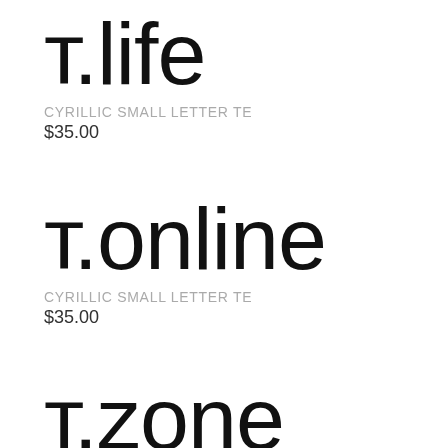т.life
CYRILLIC SMALL LETTER TE
$35.00
т.online
CYRILLIC SMALL LETTER TE
$35.00
т.zone